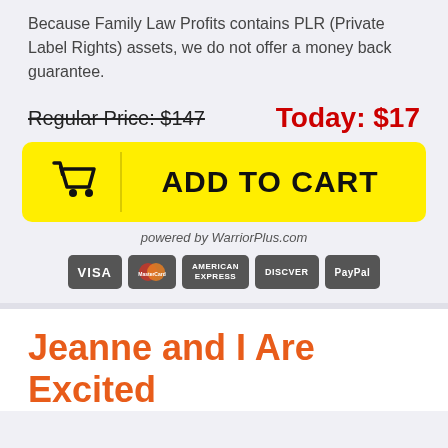Because Family Law Profits contains PLR (Private Label Rights) assets, we do not offer a money back guarantee.
Regular Price: $147    Today: $17
[Figure (other): Yellow Add to Cart button with shopping cart icon on the left and bold ADD TO CART text on the right]
powered by WarriorPlus.com
[Figure (other): Payment method badges: VISA, MasterCard, American Express, Discover, PayPal]
Jeanne and I Are Excited